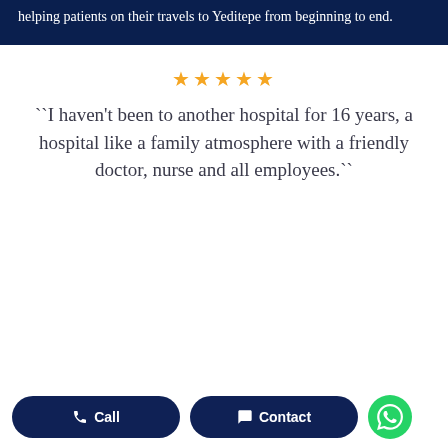helping patients on their travels to Yeditepe from beginning to end.
★★★★★
``I haven't been to another hospital for 16 years, a hospital like a family atmosphere with a friendly doctor, nurse and all employees.``
Call
Contact